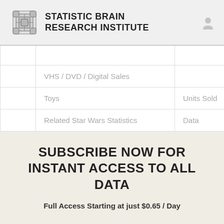STATISTIC BRAIN RESEARCH INSTITUTE
|  |  |  |
|  | VHS / DVD / Digital Sales |  |
|  | Toys | Units Sold |
|  | Related Star Wars Statistics | Data |
SUBSCRIBE NOW FOR INSTANT ACCESS TO ALL DATA
Full Access Starting at just $0.65 / Day